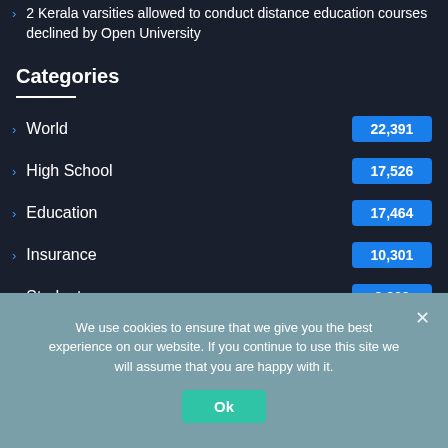2 Kerala varsities allowed to conduct distance education courses declined by Open University
Categories
World 22,391
High School 17,526
Education 17,464
Insurance 10,301
Students 9,260
We use cookies to ensure that we give you the best experience on our website. If you continue to use this site we will assume that you are happy with it.